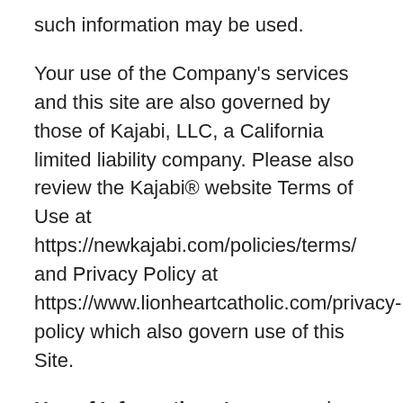such information may be used.
Your use of the Company's services and this site are also governed by those of Kajabi, LLC, a California limited liability company. Please also review the Kajabi® website Terms of Use at https://newkajabi.com/policies/terms/ and Privacy Policy at https://www.lionheartcatholic.com/privacy-policy which also govern use of this Site.
Use of Information: As a general policy, no personally identifiable information, such as your name, address, or e-mail address, is